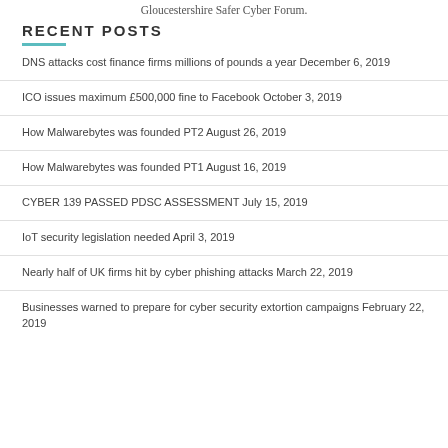Gloucestershire Safer Cyber Forum.
RECENT POSTS
DNS attacks cost finance firms millions of pounds a year December 6, 2019
ICO issues maximum £500,000 fine to Facebook October 3, 2019
How Malwarebytes was founded PT2 August 26, 2019
How Malwarebytes was founded PT1 August 16, 2019
CYBER 139 PASSED PDSC ASSESSMENT July 15, 2019
IoT security legislation needed April 3, 2019
Nearly half of UK firms hit by cyber phishing attacks March 22, 2019
Businesses warned to prepare for cyber security extortion campaigns February 22, 2019